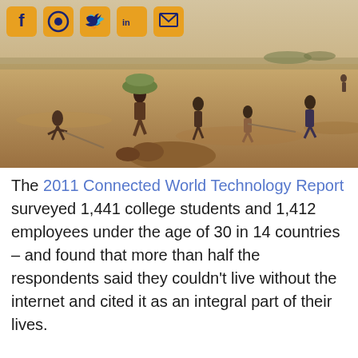[Figure (photo): People including children walking across a dry, sandy landscape carrying bundles; a dead animal lies in the foreground. Social media share icons (Facebook, WhatsApp, Twitter, LinkedIn, Email) are overlaid in the top-left corner.]
The 2011 Connected World Technology Report surveyed 1,441 college students and 1,412 employees under the age of 30 in 14 countries – and found that more than half the respondents said they couldn't live without the internet and cited it as an integral part of their lives.